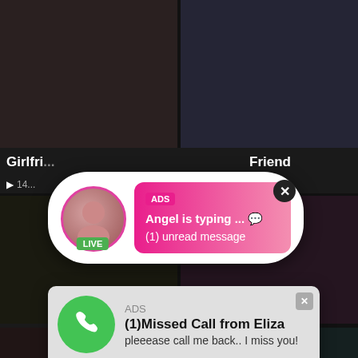[Figure (screenshot): Two video thumbnails side by side at top of page showing people]
Girlfri...
Friend
14...
[Figure (screenshot): Two video thumbnails in middle row]
[Figure (screenshot): Notification popup: Angel is typing with pink gradient background and avatar with LIVE badge]
ADS
Angel is typing ... 💬
(1) unread message
[Figure (screenshot): Missed call notification popup with green phone icon and audio player controls]
ADS
(1)Missed Call from Eliza
pleeease call me back.. I miss you!
0:00  3:23
Pus...
29...